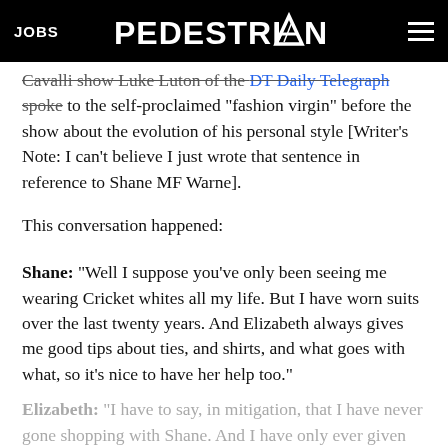JOBS | PEDESTRIAN | [menu]
Cavalli show Luke Luton of the DT Daily Telegraph speaks to the self-proclaimed “fashion virgin” before the show about the evolution of his personal style [Writer’s Note: I can’t believe I just wrote that sentence in reference to Shane MF Warne].
This conversation happened:
Shane: “Well I suppose you’ve only been seeing me wearing Cricket whites all my life. But I have worn suits over the last twenty years. And Elizabeth always gives me good tips about ties, and shirts, and what goes with what, so it’s nice to have her help too.”
Elizabeth: “I have to say, in mitigation, that I have never gone shopping with Shane. And I have only ever given him a tie. So he’s actually chosen all his own clothes always.”